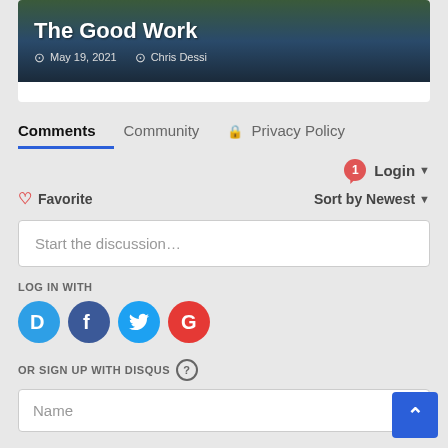[Figure (screenshot): Blog post card image showing a dark nature/dock scene with title 'The Good Work', date 'May 19, 2021', and author 'Chris Dessi']
Comments  Community  🔒 Privacy Policy
Login ▾
♡ Favorite   Sort by Newest ▾
Start the discussion…
LOG IN WITH
OR SIGN UP WITH DISQUS ?
Name